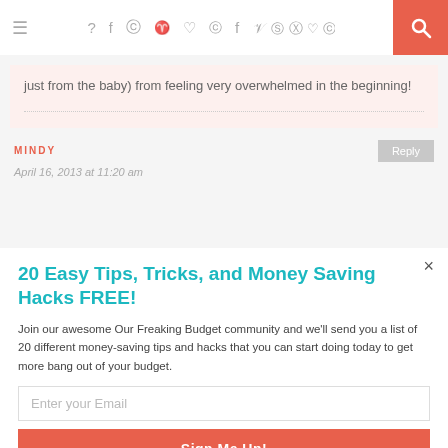≡  f  ✓  ☷  ✉  ♥  )))  🔍
just from the baby) from feeling very overwhelmed in the beginning!
MINDY
April 16, 2013 at 11:20 am
20 Easy Tips, Tricks, and Money Saving Hacks FREE!
Join our awesome Our Freaking Budget community and we'll send you a list of 20 different money-saving tips and hacks that you can start doing today to get more bang out of your budget.
Enter your Email
Sign Me Up!